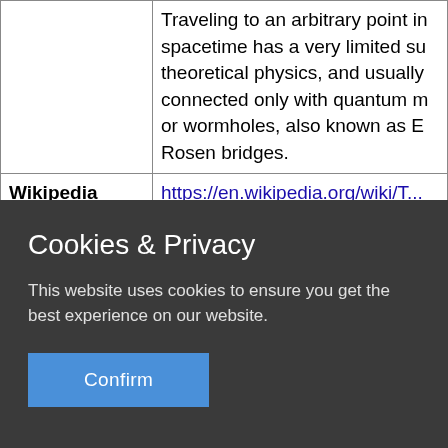|  | Traveling to an arbitrary point in spacetime has a very limited support in theoretical physics, and usually connected only with quantum mechanics or wormholes, also known as Einstein–Rosen bridges. |
| Wikipedia | https://en.wikipedia.org/wiki/T... |
Cookies & Privacy
This website uses cookies to ensure you get the best experience on our website.